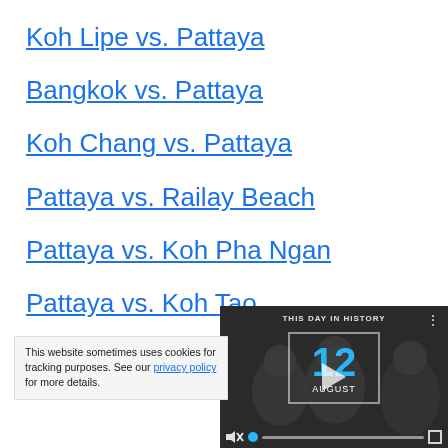Koh Lipe vs. Pattaya
Bangkok vs. Pattaya
Koh Chang vs. Pattaya
Pattaya vs. Railay Beach
Pattaya vs. Koh Pha Ngan
Pattaya vs. Koh Tao
Pattaya vs. Koh P[artially obscured]
[Figure (screenshot): Video player overlay showing 'THIS DAY IN HISTORY' with date 12 AUGUST, play button, mute icon, progress bar, and fullscreen button. Dark/grayscale background with people.]
This website sometimes uses cookies for tracking purposes. See our privacy policy for more details.